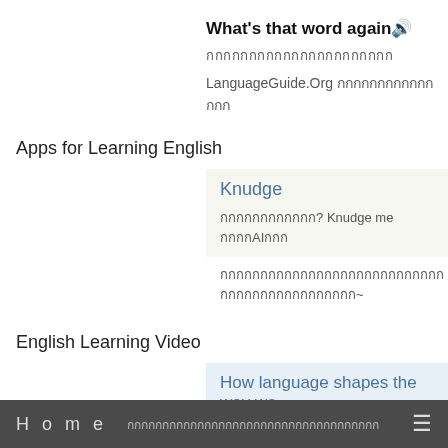What's that word again🔊
กกกกกกกกกกกกกกกกกกกกกก
LanguageGuide.Org กกกกกกกกกกกกกกก
Apps for Learning English
Knudge
กกกกกกกกกกกก? Knudge me กกกกAIกกก
กกกกกกกกกกกกกกกกกกกกกกกกกกกกกกกกกกกกกกกกกกกกก~
English Learning Video
How language shapes the way we
กกกกกกกกกก 7 กกกกกกกกกกกกกกกกกกกกกกกกกก
กกกกกกกก? กก Lera Boroditsky กกกก
Home